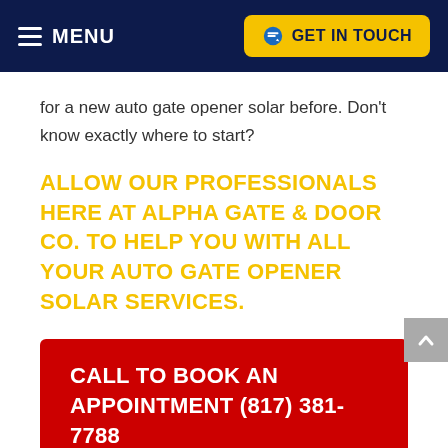MENU | GET IN TOUCH
for a new auto gate opener solar before. Don't know exactly where to start?
ALLOW OUR PROFESSIONALS HERE AT ALPHA GATE & DOOR CO. TO HELP YOU WITH ALL YOUR AUTO GATE OPENER SOLAR SERVICES.
CALL TO BOOK AN APPOINTMENT (817) 381-7788